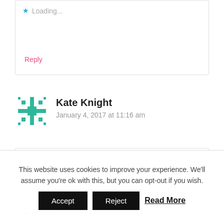Loading...
Reply
Kate Knight
January 4, 2017 at 11:16 am
Yes we always get them a christmas treat
Loading...
This website uses cookies to improve your experience. We'll assume you're ok with this, but you can opt-out if you wish.
Accept
Reject
Read More